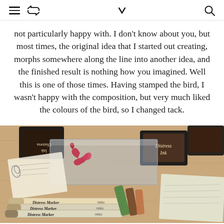[hamburger icon] [retweet icon] [chevron down icon] [search icon]
not particularly happy with. I don't know about you, but most times, the original idea that I started out creating, morphs somewhere along the line into another idea, and the finished result is nothing how you imagined. Well this is one of those times. Having stamped the bird, I wasn't happy with the composition, but very much liked the colours of the bird, so I changed tack.
[Figure (photo): Crafting supplies on a wooden table: Distress Ink stamp pads (one upside down, one right-side up labeled 'Distress Ink'), a clear acrylic block with a red rubber bird stamp mounted on it, and several Distress Marker pens (labeled 'Distress Marker') along with chalk pastels. Handwritten papers visible at edges.]